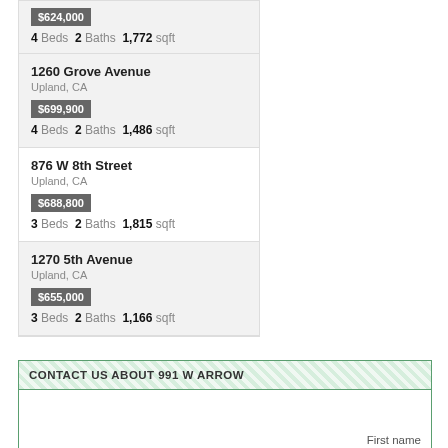$624,000 — 4 Beds 2 Baths 1,772 sqft
1260 Grove Avenue, Upland, CA — $699,900 — 4 Beds 2 Baths 1,486 sqft
876 W 8th Street, Upland, CA — $688,800 — 3 Beds 2 Baths 1,815 sqft
1270 5th Avenue, Upland, CA — $655,000 — 3 Beds 2 Baths 1,166 sqft
CONTACT US ABOUT 991 W ARROW
First name